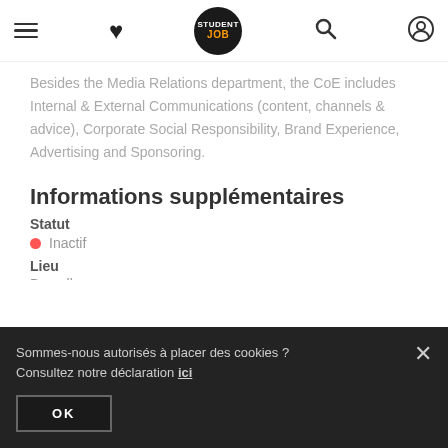StudentJob navigation bar
Besides the Media Relations department, the CoE includes Internal & External Communications (content, channels & advice), Corporate Social Responsibility, Brand Experience, Advertising and Sponsoring.
Informations supplémentaires
Statut
● Inactif
Lieu
Bruxelles
Permis de conduire BE/EU exigé
Non
Voiture exigée
Non
Lettre de motivation exigée
Sommes-nous autorisés à placer des cookies ? Consultez notre déclaration ici
OK